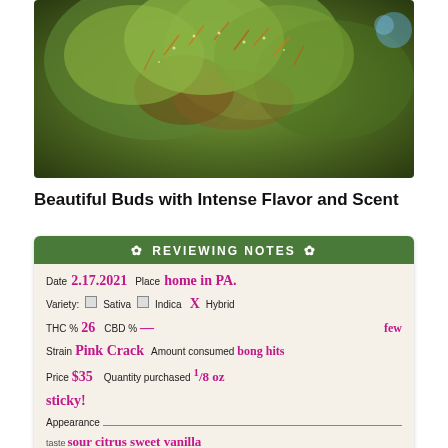[Figure (photo): Close-up macro photograph of cannabis buds with green and brown colors]
Beautiful Buds with Intense Flavor and Scent
[Figure (other): Reviewing Notes card with handwritten entries: Date 2.17.2021, Place home in PA, Variety: Hybrid (checked), THC% 26, CBD% —, Strain Pink Crack, Amount consumed few bong hits, Price $35, Quantity purchased 1/8 oz, Appearance sticky!, Taste sour citrus sweet vanilla]